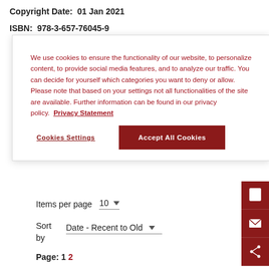Copyright Date:  01 Jan 2021
ISBN:  978-3-657-76045-9
We use cookies to ensure the functionality of our website, to personalize content, to provide social media features, and to analyze our traffic. You can decide for yourself which categories you want to deny or allow. Please note that based on your settings not all functionalities of the site are available. Further information can be found in our privacy policy.  Privacy Statement
Cookies Settings
Accept All Cookies
Items per page  10
Sort by  Date - Recent to Old
Page: 1  2